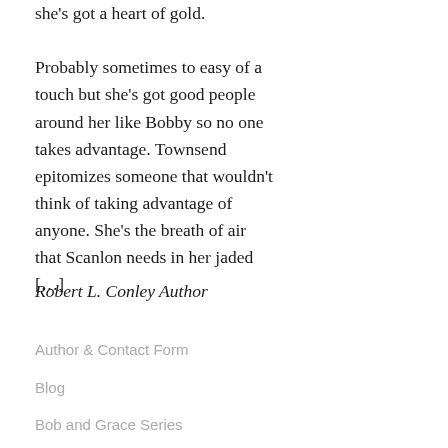she's got a heart of gold. Probably sometimes to easy of a touch but she's got good people around her like Bobby so no one takes advantage. Townsend epitomizes someone that wouldn't think of taking advantage of anyone. She's the breath of air that Scanlon needs in her jaded […]
Robert L. Conley Author
Author & Contact Form
Blog
Bob and Grace Series
Day of the Dogs